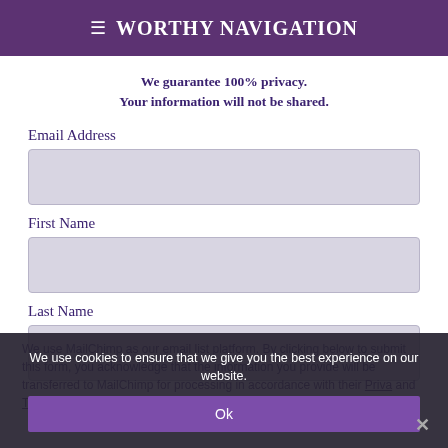≡ Worthy Navigation
We guarantee 100% privacy.
Your information will not be shared.
Email Address
First Name
Last Name
We use cookies to ensure that we give you the best experience on our website.
We use MailChimp as our email list platform. By clicking below to submit this form, you acknowledge that the information you provide will be transferred to MailChimp for processing in accordance with their Privacy and Terms.